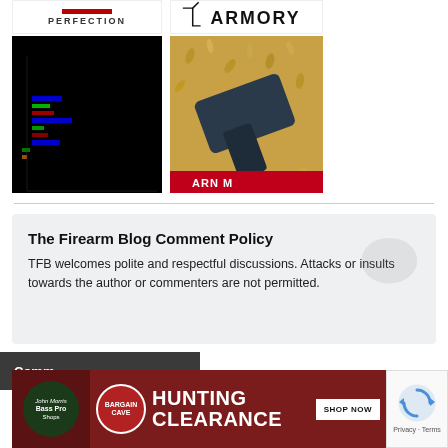[Figure (screenshot): Two-row grid of images: top-left is a Glock 'Perfection' logo on white, top-right is an Armory logo, bottom-left is a dark chart/UI screenshot, bottom-right is a handgun on scattered ammunition]
The Firearm Blog Comment Policy
TFB welcomes polite and respectful discussions. Attacks or insults towards the author or commenters are not permitted.
Comm
[Figure (screenshot): Bass Pro Shops Bargain Cave Hunting Clearance advertisement banner with Shop Now button]
[Figure (screenshot): reCAPTCHA widget with Privacy - Terms text]